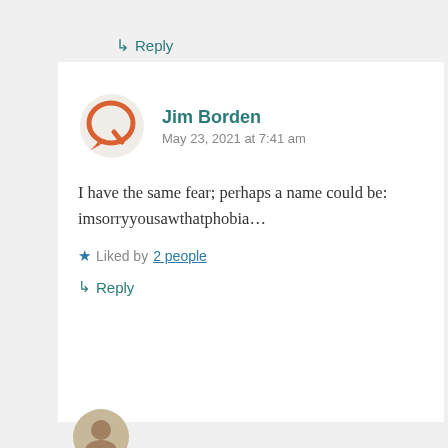↳ Reply
[Figure (illustration): Orange circular chat bubble / Q logo avatar for user Jim Borden]
Jim Borden
May 23, 2021 at 7:41 am
I have the same fear; perhaps a name could be: imsorryyousawthatphobia…
★ Liked by 2 people
↳ Reply
[Figure (photo): Partial circular avatar at the bottom of the page, partially visible]